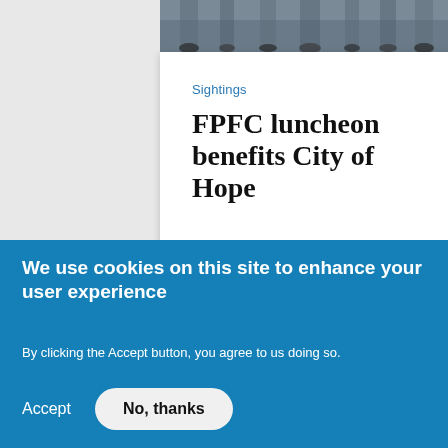[Figure (photo): Partial view of a group of people at an event, showing legs and feet]
Sightings
FPFC luncheon benefits City of Hope
August 18, 2022
- ADVERTISEMENT -
We use cookies on this site to enhance your user experience
By clicking the Accept button, you agree to us doing so.
Accept
No, thanks